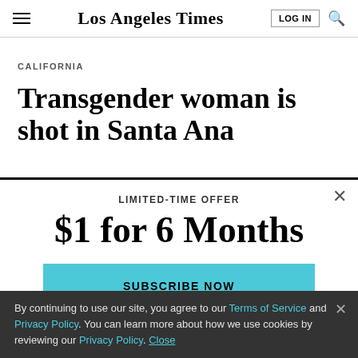Los Angeles Times
CALIFORNIA
Transgender woman is shot in Santa Ana
LIMITED-TIME OFFER
$1 for 6 Months
SUBSCRIBE NOW
By continuing to use our site, you agree to our Terms of Service and Privacy Policy. You can learn more about how we use cookies by reviewing our Privacy Policy. Close